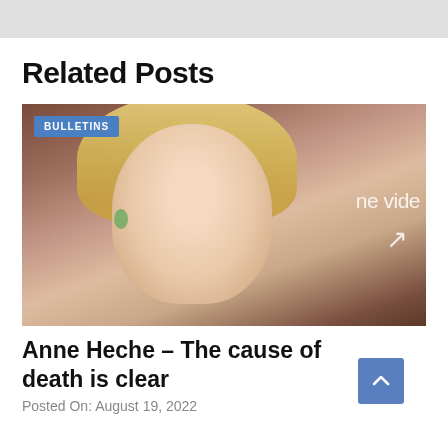[Figure (photo): Top grey bar / header area at the top of the page]
Related Posts
[Figure (photo): Photo of Anne Heche, a blonde woman smiling, at an Amazon Prime Video event. A blue 'BULLETINS' badge overlays the top-left corner of the image.]
Anne Heche – The cause of death is clear
Posted On: August 19, 2022